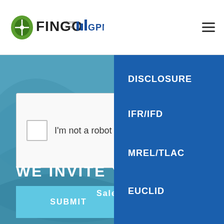FINGO | GPM
[Figure (screenshot): reCAPTCHA widget with checkbox labelled 'I'm not a robot', reCAPTCHA logo and Privacy/Terms links]
SUBMIT
WE INVITE YOU TO CO
Sales & Marketing Department
+48 515 985 555
+48 515 178 280
+48 695 711 771
DISCLOSURE
IFR/IFD
MREL/TLAC
EUCLID